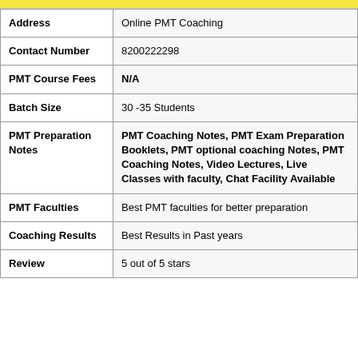| Field | Value |
| --- | --- |
| Address | Online PMT Coaching |
| Contact Number | 8200222298 |
| PMT Course Fees | N/A |
| Batch Size | 30 -35 Students |
| PMT Preparation Notes | PMT Coaching Notes, PMT Exam Preparation Booklets, PMT optional coaching Notes, PMT Coaching Notes, Video Lectures, Live Classes with faculty, Chat Facility Available |
| PMT Faculties | Best PMT faculties for better preparation |
| Coaching Results | Best Results in Past years |
| Review | 5 out of  5 stars |